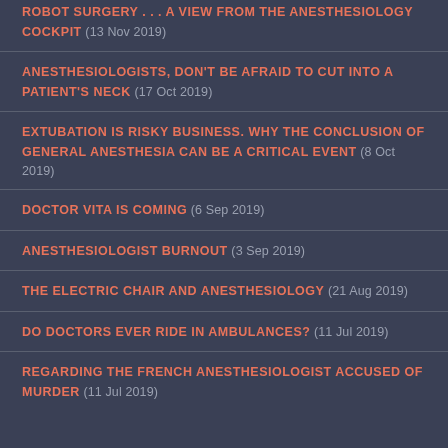ROBOT SURGERY . . . A VIEW FROM THE ANESTHESIOLOGY COCKPIT (13 Nov 2019)
ANESTHESIOLOGISTS, DON'T BE AFRAID TO CUT INTO A PATIENT'S NECK (17 Oct 2019)
EXTUBATION IS RISKY BUSINESS. WHY THE CONCLUSION OF GENERAL ANESTHESIA CAN BE A CRITICAL EVENT (8 Oct 2019)
DOCTOR VITA IS COMING (6 Sep 2019)
ANESTHESIOLOGIST BURNOUT (3 Sep 2019)
THE ELECTRIC CHAIR AND ANESTHESIOLOGY (21 Aug 2019)
DO DOCTORS EVER RIDE IN AMBULANCES? (11 Jul 2019)
REGARDING THE FRENCH ANESTHESIOLOGIST ACCUSED OF MURDER (11 Jul 2019)